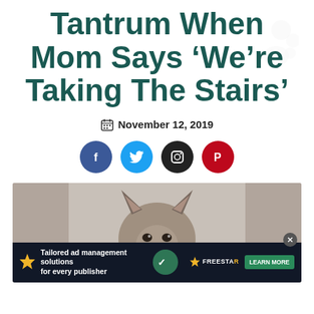Tantrum When Mom Says 'We're Taking The Stairs'
November 12, 2019
[Figure (infographic): Four social media share buttons: Facebook (blue), Twitter (light blue), Instagram (black), Pinterest (red)]
[Figure (photo): A husky puppy dog looking at the camera, photographed from behind/above with ears visible]
[Figure (infographic): Advertisement banner: 'Tailored ad management solutions for every publisher' with Freestar logo and Learn More button]